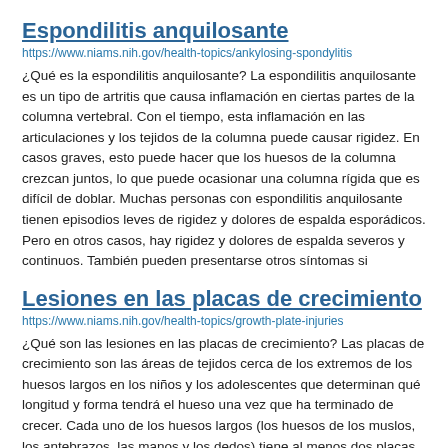Espondilitis anquilosante
https://www.niams.nih.gov/health-topics/ankylosing-spondylitis
¿Qué es la espondilitis anquilosante? La espondilitis anquilosante es un tipo de artritis que causa inflamación en ciertas partes de la columna vertebral. Con el tiempo, esta inflamación en las articulaciones y los tejidos de la columna puede causar rigidez. En casos graves, esto puede hacer que los huesos de la columna crezcan juntos, lo que puede ocasionar una columna rígida que es difícil de doblar. Muchas personas con espondilitis anquilosante tienen episodios leves de rigidez y dolores de espalda esporádicos. Pero en otros casos, hay rigidez y dolores de espalda severos y continuos. También pueden presentarse otros síntomas si
Lesiones en las placas de crecimiento
https://www.niams.nih.gov/health-topics/growth-plate-injuries
¿Qué son las lesiones en las placas de crecimiento? Las placas de crecimiento son las áreas de tejidos cerca de los extremos de los huesos largos en los niños y los adolescentes que determinan qué longitud y forma tendrá el hueso una vez que ha terminado de crecer. Cada uno de los huesos largos (los huesos de los muslos, los antebrazos, las manos y los dedos) tiene al menos dos placas